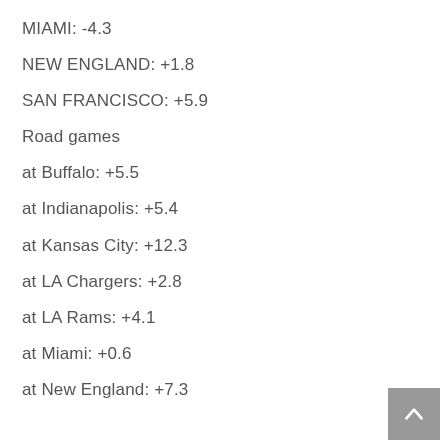MIAMI: -4.3
NEW ENGLAND: +1.8
SAN FRANCISCO: +5.9
Road games
at Buffalo: +5.5
at Indianapolis: +5.4
at Kansas City: +12.3
at LA Chargers: +2.8
at LA Rams: +4.1
at Miami: +0.6
at New England: +7.3